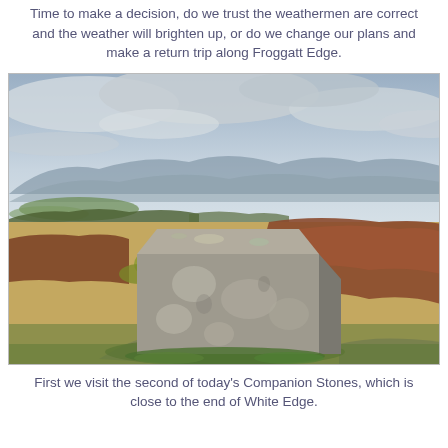Time to make a decision, do we trust the weathermen are correct and the weather will brighten up, or do we change our plans and make a return trip along Froggatt Edge.
[Figure (photo): A landscape photograph showing a large lichen-covered stone block or plinth in the foreground on a moorland setting. Behind it stretches an open valley with heather, bracken, and green fields, with hills and mountains visible in the distance under a cloudy, overcast sky.]
First we visit the second of today's Companion Stones, which is close to the end of White Edge.